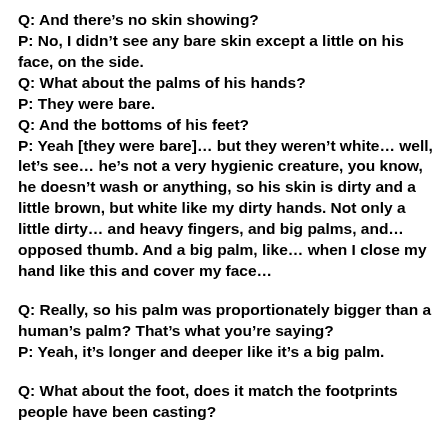Q: And there's no skin showing?
P: No, I didn't see any bare skin except a little on his face, on the side.
Q: What about the palms of his hands?
P: They were bare.
Q: And the bottoms of his feet?
P: Yeah [they were bare]… but they weren't white… well, let's see… he's not a very hygienic creature, you know, he doesn't wash or anything, so his skin is dirty and a little brown, but white like my dirty hands. Not only a little dirty… and heavy fingers, and big palms, and… opposed thumb. And a big palm, like… when I close my hand like this and cover my face…
Q: Really, so his palm was proportionately bigger than a human's palm? That's what you're saying?
P: Yeah, it's longer and deeper like it's a big palm.
Q: What about the foot, does it match the footprints people have been casting?